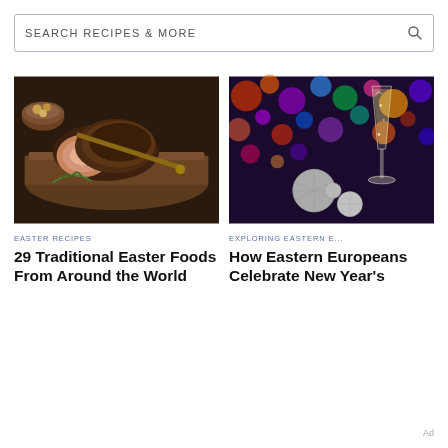SEARCH RECIPES & MORE
[Figure (photo): Sliced roasted lamb or pork on a wooden cutting board with rosemary garnish and roasted potatoes in background, dark moody lighting]
EASTER RECIPES
29 Traditional Easter Foods From Around the World
[Figure (photo): Champagne flute with silver disco balls against colorful bokeh lights background in purple, red, orange, green, blue]
EXPLORING EASTERN E...
How Eastern Europeans Celebrate New Year's
Ad